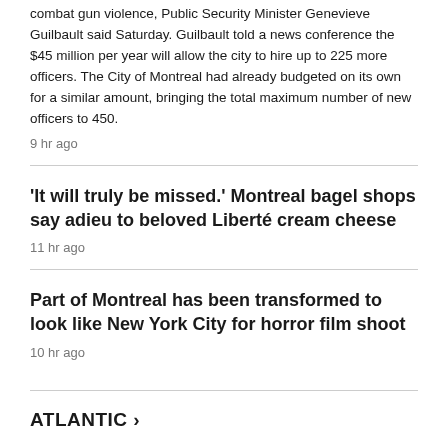combat gun violence, Public Security Minister Genevieve Guilbault said Saturday. Guilbault told a news conference the $45 million per year will allow the city to hire up to 225 more officers. The City of Montreal had already budgeted on its own for a similar amount, bringing the total maximum number of new officers to 450.
9 hr ago
'It will truly be missed.' Montreal bagel shops say adieu to beloved Liberté cream cheese
11 hr ago
Part of Montreal has been transformed to look like New York City for horror film shoot
10 hr ago
ATLANTIC ›